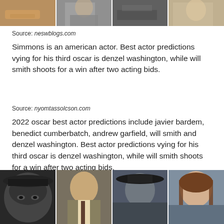[Figure (photo): Strip of four movie/actor photos at the top of the page]
Source: neswblogs.com
Simmons is an american actor. Best actor predictions vying for his third oscar is denzel washington, while will smith shoots for a win after two acting bids.
Source: nyomtassolcson.com
2022 oscar best actor predictions include javier bardem, benedict cumberbatch, andrew garfield, will smith and denzel washington. Best actor predictions vying for his third oscar is denzel washington, while will smith shoots for a win after two acting bids.
[Figure (photo): Strip of four actor portrait photos at the bottom of the page]